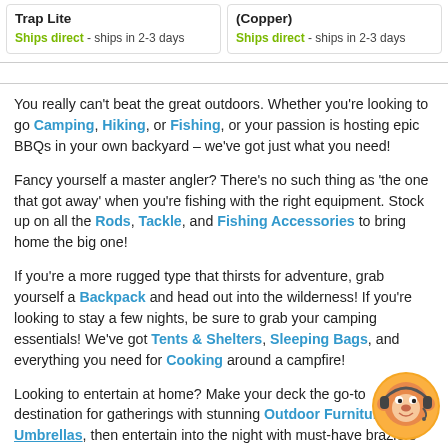Trap Lite
Ships direct - ships in 2-3 days
(Copper)
Ships direct - ships in 2-3 days
You really can't beat the great outdoors. Whether you're looking to go Camping, Hiking, or Fishing, or your passion is hosting epic BBQs in your own backyard – we've got just what you need!
Fancy yourself a master angler? There's no such thing as 'the one that got away' when you're fishing with the right equipment. Stock up on all the Rods, Tackle, and Fishing Accessories to bring home the big one!
If you're a more rugged type that thirsts for adventure, grab yourself a Backpack and head out into the wilderness! If you're looking to stay a few nights, be sure to grab your camping essentials! We've got Tents & Shelters, Sleeping Bags, and everything you need for Cooking around a campfire!
Looking to entertain at home? Make your deck the go-to destination for gatherings with stunning Outdoor Furniture and Umbrellas, then entertain into the night with must-have braziers for Outdoor Heating! Of course, no party would be the same without a BBQ, and we've got everything you need to be master of the grill! Whether you're cooking with Gas or Charcoal – there's a massive range to choose from and a